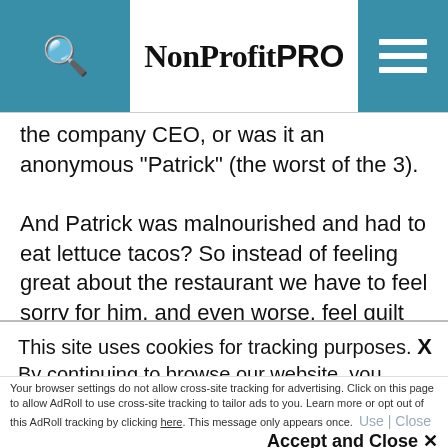NonProfit PRO
the company CEO, or was it an anonymous "Patrick" (the worst of the 3).
And Patrick was malnourished and had to eat lettuce tacos? So instead of feeling great about the restaurant we have to feel sorry for him, and even worse, feel guilt about our own good fortune because he lived like Oliver and our kids don't?
This site uses cookies for tracking purposes. By continuing to browse our website, you agree to the storing of first- and third-party cookies on your device to enhance site navigation, analyze site usage, and assist in our marketing and
Accept and Close ✕
Your browser settings do not allow cross-site tracking for advertising. Click on this page to allow AdRoll to use cross-site tracking to tailor ads to you. Learn more or opt out of this AdRoll tracking by clicking here. This message only appears once.